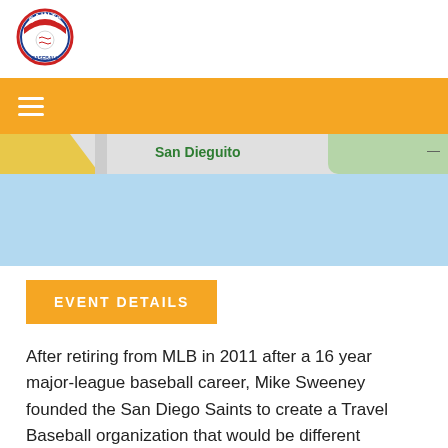[Figure (logo): San Diego Saints baseball logo - circular badge with red and blue text reading SAINTS]
[Figure (map): Partial Google Maps screenshot showing San Dieguito area with blue water area and street/road overlay]
EVENT DETAILS
After retiring from MLB in 2011 after a 16 year major-league baseball career, Mike Sweeney founded the San Diego Saints to create a Travel Baseball organization that would be different